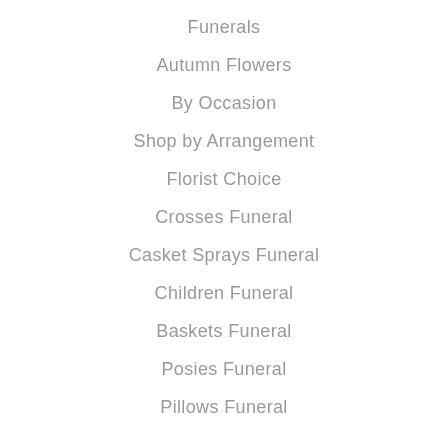Funerals
Autumn Flowers
By Occasion
Shop by Arrangement
Florist Choice
Crosses Funeral
Casket Sprays Funeral
Children Funeral
Baskets Funeral
Posies Funeral
Pillows Funeral